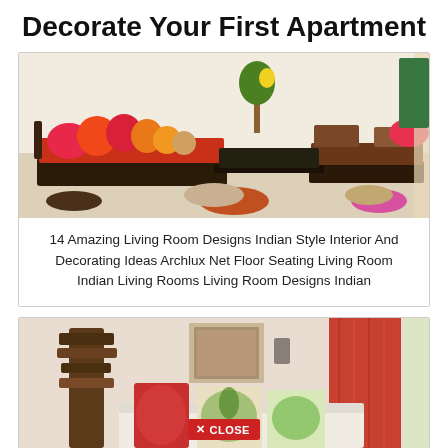Decorate Your First Apartment
[Figure (photo): Indian style living room with low-seating furniture, colorful pillows in red, pink, orange on an orange sofa/daybed, dark wooden coffee table, additional seating units, floor cushions, and light colored floor]
14 Amazing Living Room Designs Indian Style Interior And Decorating Ideas Archlux Net Floor Seating Living Room Indian Living Rooms Living Room Designs Indian
[Figure (photo): Indian style living room with red/orange curtains on right, wooden decorative sculpture on left, framed artwork on wall, white bench/seating with decorative pillows featuring tropical motifs, and a close button overlay at the bottom]